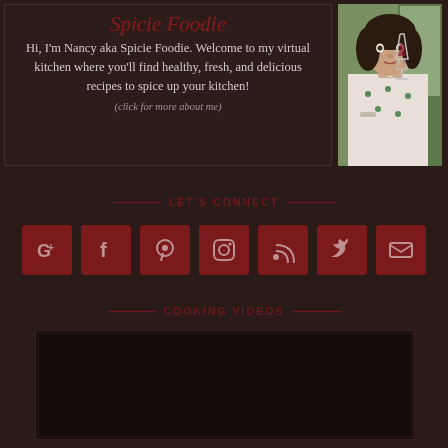Spicie Foodie
Hi, I'm Nancy aka Spicie Foodie. Welcome to my virtual kitchen where you'll find healthy, fresh, and delicious recipes to spice up your kitchen!
(click for more about me)
[Figure (photo): Photo of Nancy holding a wine glass]
— LET'S CONNECT —
[Figure (infographic): Row of 7 social media icon buttons in dark red squares]
— COOKING VIDEOS —
[Figure (screenshot): Embedded video placeholder area]